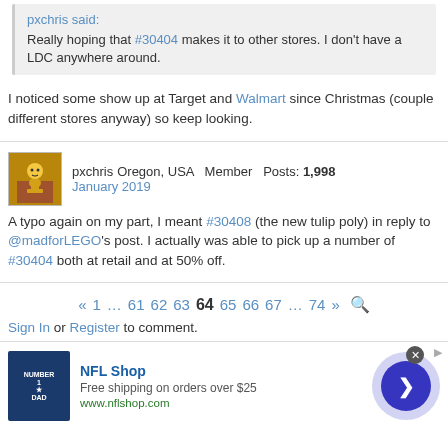pxchris said: Really hoping that #30404 makes it to other stores. I don't have a LDC anywhere around.
I noticed some show up at Target and Walmart since Christmas (couple different stores anyway) so keep looking.
pxchris Oregon, USA Member Posts: 1,998 January 2019
A typo again on my part, I meant #30408 (the new tulip poly) in reply to @madforLEGO's post. I actually was able to pick up a number of #30404 both at retail and at 50% off.
« 1 … 61 62 63 64 65 66 67 … 74 » 🔍
Sign In or Register to comment.
[Figure (infographic): NFL Shop advertisement with jersey image, text 'Free shipping on orders over $25', url 'www.nflshop.com', and a circular arrow button]